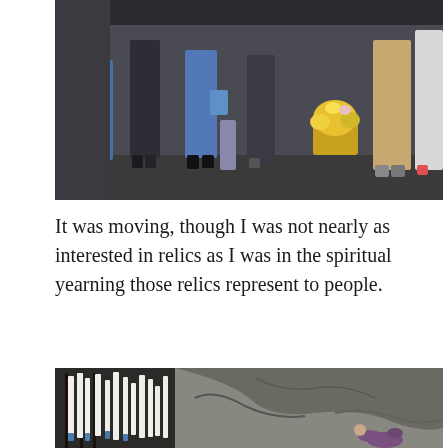[Figure (photo): People standing at what appears to be a religious shrine or memorial site, with flowers and offerings visible. Legs and lower bodies of several people are visible, some holding bags. Yellow flowers in a basket are visible on the right side.]
It was moving, though I was not nearly as interested in relics as I was in the spiritual yearning those relics represent to people.
[Figure (photo): A person kneeling or prostrating at a rocky grotto, with tall white candles with blue holders arranged on the left side. The stone wall of a cave or grotto is visible in the background.]